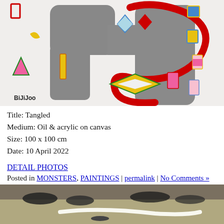[Figure (photo): Colorful abstract artwork titled 'Tangled' showing a large gray monster-like figure wrapped with a thick red spiral/tangled line, surrounded by various colorful geometric shapes (diamonds, rectangles, triangles) on a white background. Artist signature 'BIJIJOO' visible at bottom left.]
Title: Tangled
Medium: Oil & acrylic on canvas
Size: 100 x 100 cm
Date: 10 April 2022
DETAIL PHOTOS
Posted in MONSTERS, PAINTINGS | permalink | No Comments »
[Figure (photo): Black and white close-up detail photo of a painting showing textured brushwork with dark curved shapes suggesting a creature or figure against a lighter background.]